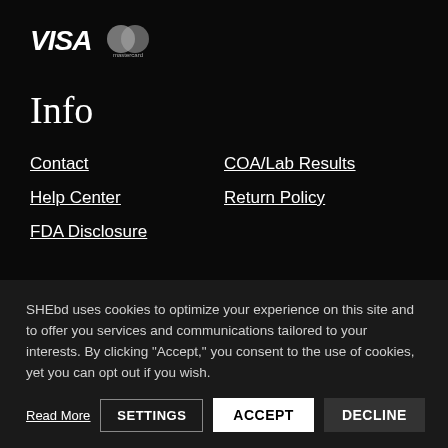[Figure (logo): VISA and Mastercard payment logos on dark background]
Info
Contact
COA/Lab Results
Help Center
Return Policy
FDA Disclosure
SHEbd uses cookies to optimize your experience on this site and to offer you services and communications tailored to your interests. By clicking "Accept," you consent to the use of cookies, yet you can opt out if you wish.
Read More | SETTINGS | ACCEPT | DECLINE